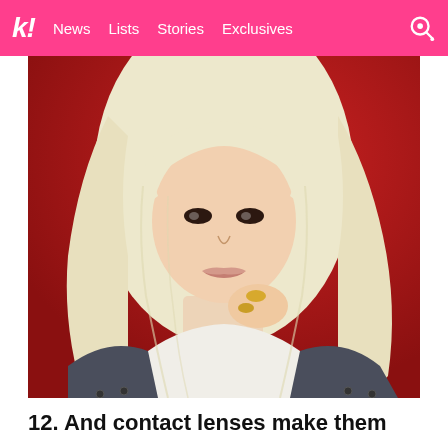k! News Lists Stories Exclusives
[Figure (photo): Young woman with long platinum blonde wavy hair, wearing a white top and dark denim jacket, holding her hand near her neck with gold rings, against a red background. K-pop style editorial photo.]
12. And contact lenses make them